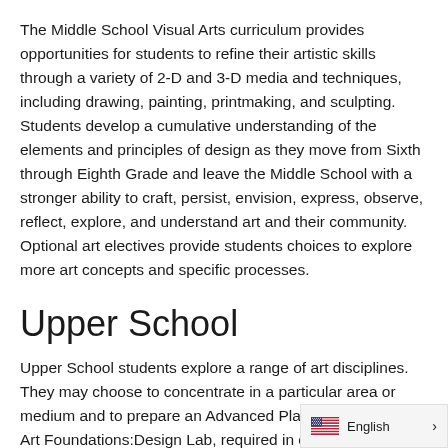The Middle School Visual Arts curriculum provides opportunities for students to refine their artistic skills through a variety of 2-D and 3-D media and techniques, including drawing, painting, printmaking, and sculpting. Students develop a cumulative understanding of the elements and principles of design as they move from Sixth through Eighth Grade and leave the Middle School with a stronger ability to craft, persist, envision, express, observe, reflect, explore, and understand art and their community. Optional art electives provide students choices to explore more art concepts and specific processes.
Upper School
Upper School students explore a range of art disciplines. They may choose to concentrate in a particular area or medium and to prepare an Advanced Placement Portfolio. Art Foundations:Design Lab, required in combines digital art making with hands-o